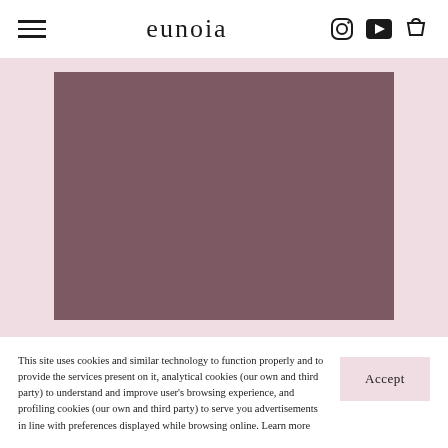cunoia — navigation header with hamburger menu, logo, instagram icon, youtube icon, and cart icon
[Figure (photo): A mauve/dusty rose rectangular image block on a pink background, approximately 340x248px, solid muted purple-brown color (#7d5a63)]
NEW INNOVATIVE
This site uses cookies and similar technology to function properly and to provide the services present on it, analytical cookies (our own and third party) to understand and improve user's browsing experience, and profiling cookies (our own and third party) to serve you advertisements in line with preferences displayed while browsing online. Learn more